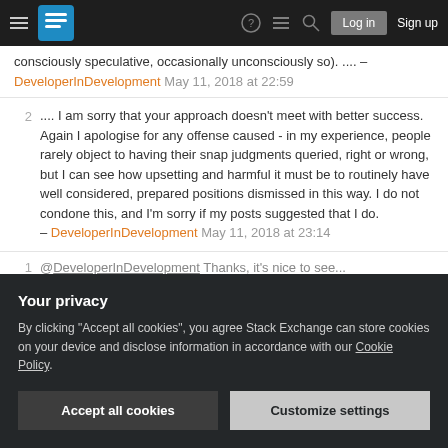Stack Exchange navigation bar with hamburger menu, logo, help, chat, search, Log in, Sign up
consciously speculative, occasionally unconsciously so). .... – DeveloperInDevelopment May 11, 2018 at 22:59
2 .... I am sorry that your approach doesn't meet with better success. Again I apologise for any offense caused - in my experience, people rarely object to having their snap judgments queried, right or wrong, but I can see how upsetting and harmful it must be to routinely have well considered, prepared positions dismissed in this way. I do not condone this, and I'm sorry if my posts suggested that I do. – DeveloperInDevelopment May 11, 2018 at 23:14
@DeveloperInDevelopment Thanks, it's nice to see...
Your privacy
By clicking "Accept all cookies", you agree Stack Exchange can store cookies on your device and disclose information in accordance with our Cookie Policy.
Accept all cookies   Customize settings